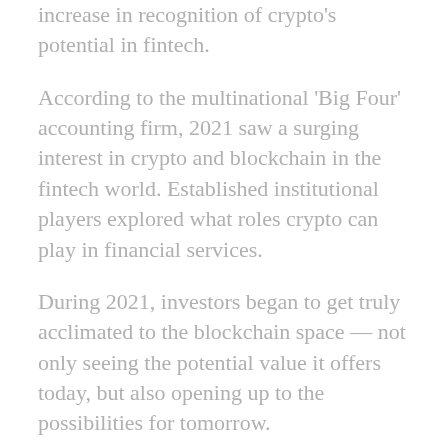increase in recognition of crypto's potential in fintech.
According to the multinational 'Big Four' accounting firm, 2021 saw a surging interest in crypto and blockchain in the fintech world. Established institutional players explored what roles crypto can play in financial services.
During 2021, investors began to get truly acclimated to the blockchain space — not only seeing the potential value it offers today, but also opening up to the possibilities for tomorrow.